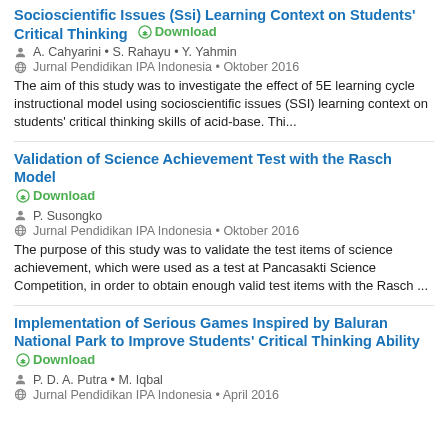Socioscientific Issues (Ssi) Learning Context on Students Critical Thinking
Download
A. Cahyarini • S. Rahayu • Y. Yahmin
Jurnal Pendidikan IPA Indonesia • Oktober 2016
The aim of this study was to investigate the effect of 5E learning cycle instructional model using socioscientific issues (SSI) learning context on students' critical thinking skills of acid-base. Thi...
Validation of Science Achievement Test with the Rasch Model
Download
P. Susongko
Jurnal Pendidikan IPA Indonesia • Oktober 2016
The purpose of this study was to validate the test items of science achievement, which were used as a test at Pancasakti Science Competition, in order to obtain enough valid test items with the Rasch ...
Implementation of Serious Games Inspired by Baluran National Park to Improve Students' Critical Thinking Ability
Download
P. D. A. Putra • M. Iqbal
Jurnal Pendidikan IPA Indonesia • April 2016